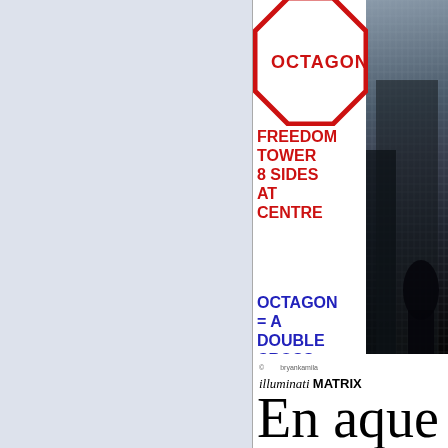[Figure (infographic): Left panel with light blue-grey background, blank content area]
[Figure (infographic): Octagon shape outline in red at top, partial view showing 'OCTAGON' text, with photo of Freedom Tower building behind it]
FREEDOM TOWER 8 SIDES AT CENTRE
OCTAGON = A DOUBLE CROSS
[Figure (logo): illuminati MATRIX PERSPECTIVE GALLERY logo with copyright and bryankamila text]
En aque